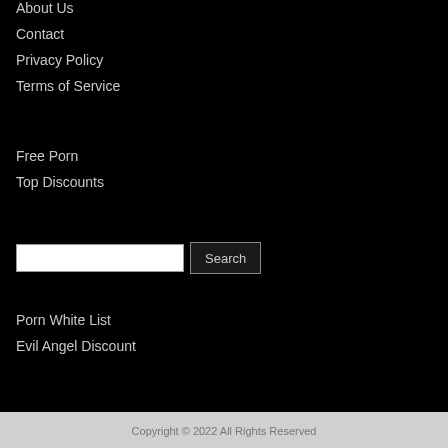About Us
Contact
Privacy Policy
Terms of Service
Free Porn
Top Discounts
Porn White List
Evil Angel Discount
Copyright © 2022 All Rights Reserved